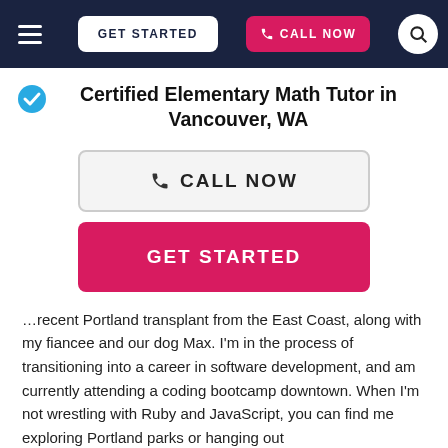GET STARTED | CALL NOW
Certified Elementary Math Tutor in Vancouver, WA
[Figure (other): CALL NOW button with phone icon, light gray background with dark border]
[Figure (other): GET STARTED button, crimson/pink background with white text]
…recent Portland transplant from the East Coast, along with my fiancee and our dog Max. I'm in the process of transitioning into a career in software development, and am currently attending a coding bootcamp downtown. When I'm not wrestling with Ruby and JavaScript, you can find me exploring Portland parks or hanging out